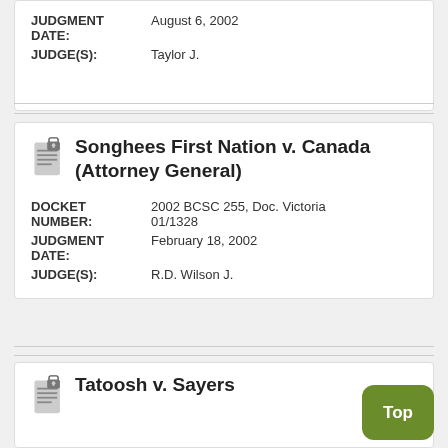| JUDGMENT DATE: | August 6, 2002 |
| JUDGE(S): | Taylor J. |
Songhees First Nation v. Canada (Attorney General)
| DOCKET NUMBER: | 2002 BCSC 255, Doc. Victoria 01/1328 |
| JUDGMENT DATE: | February 18, 2002 |
| JUDGE(S): | R.D. Wilson J. |
Tatoosh v. Sayers